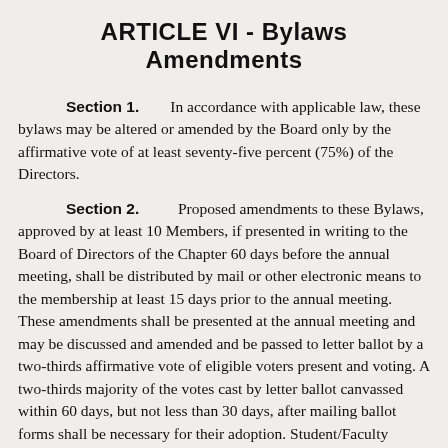ARTICLE VI - Bylaws Amendments
Section 1. In accordance with applicable law, these bylaws may be altered or amended by the Board only by the affirmative vote of at least seventy-five percent (75%) of the Directors.
Section 2. Proposed amendments to these Bylaws, approved by at least 10 Members, if presented in writing to the Board of Directors of the Chapter 60 days before the annual meeting, shall be distributed by mail or other electronic means to the membership at least 15 days prior to the annual meeting. These amendments shall be presented at the annual meeting and may be discussed and amended and be passed to letter ballot by a two-thirds affirmative vote of eligible voters present and voting. A two-thirds majority of the votes cast by letter ballot canvassed within 60 days, but not less than 30 days, after mailing ballot forms shall be necessary for their adoption. Student/Faculty Members shall not be eligible to propose or vote on